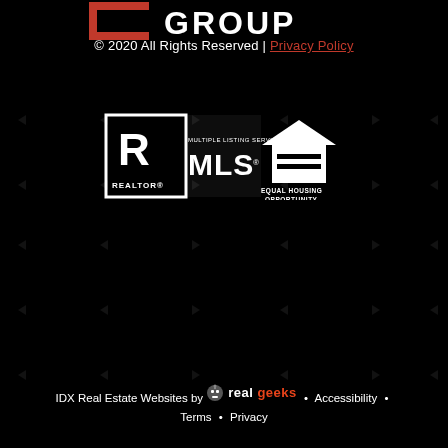[Figure (logo): GROUP logo with red bracket and white text at top]
© 2020 All Rights Reserved | Privacy Policy
[Figure (logo): REALTOR MLS Multiple Listing Service and Equal Housing Opportunity logos in white on black background]
IDX Real Estate Websites by RealGeeks • Accessibility • Terms • Privacy